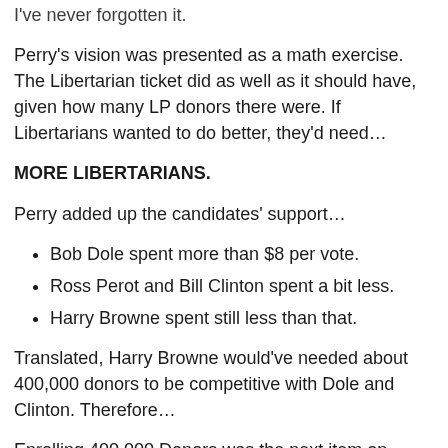I've never forgotten it.
Perry's vision was presented as a math exercise. The Libertarian ticket did as well as it should have, given how many LP donors there were. If Libertarians wanted to do better, they'd need…
MORE LIBERTARIANS.
Perry added up the candidates' support…
Bob Dole spent more than $8 per vote.
Ross Perot and Bill Clinton spent a bit less.
Harry Browne spent still less than that.
Translated, Harry Browne would've needed about 400,000 donors to be competitive with Dole and Clinton. Therefore…
Enrolling 400,000 Donors was the next item on the...